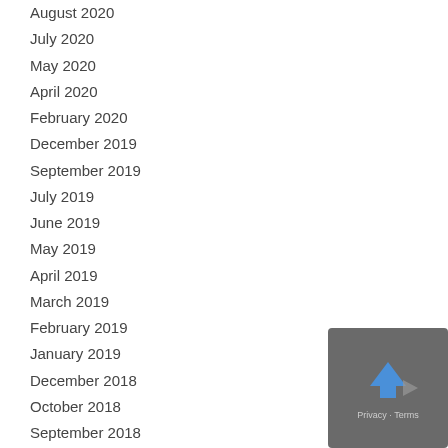August 2020
July 2020
May 2020
April 2020
February 2020
December 2019
September 2019
July 2019
June 2019
May 2019
April 2019
March 2019
February 2019
January 2019
December 2018
October 2018
September 2018
August 2018
July 2018